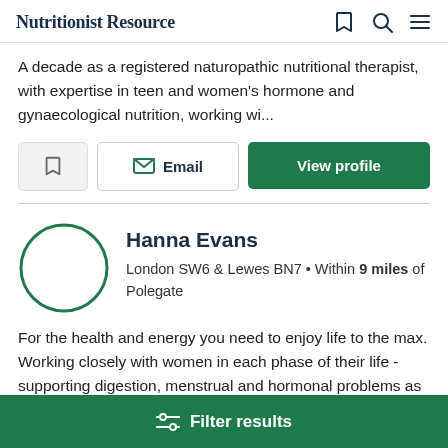Nutritionist Resource
A decade as a registered naturopathic nutritional therapist, with expertise in teen and women's hormone and gynaecological nutrition, working wi...
Email | View profile
Hanna Evans
London SW6 & Lewes BN7 • Within 9 miles of Polegate
For the health and energy you need to enjoy life to the max. Working closely with women in each phase of their life - supporting digestion, menstrual and hormonal problems as
Filter results